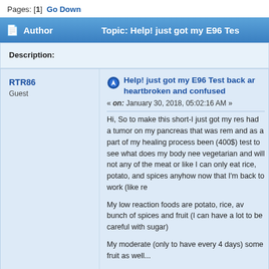Pages: [1]  Go Down
Author   Topic: Help! just got my E96 Tes
Description:
RTR86
Guest
Help! just got my E96 Test back and heartbroken and confused
« on: January 30, 2018, 05:02:16 AM »
Hi, So to make this short-I just got my res had a tumor on my pancreas that was rem and as a part of my healing process been (400$) test to see what does my body nee vegetarian and will not any of the meat or like I can only eat rice, potato, and spices anyhow now that I'm back to work (like re
My low reaction foods are potato, rice, aw bunch of spices and fruit (I can have a lot to be careful with sugar)
My moderate (only to have every 4 days) some fruit as well...